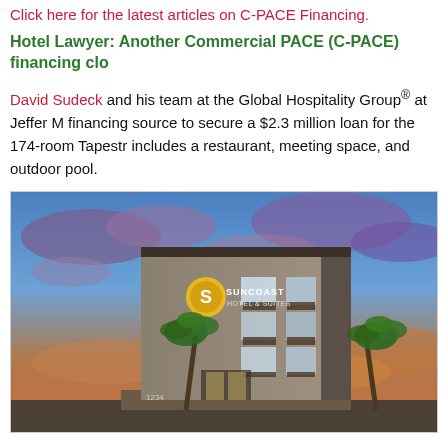Click here for the latest articles on C-PACE Financing.
Hotel Lawyer: Another Commercial PACE (C-PACE) financing clo
David Sudeck and his team at the Global Hospitality Group® at Jeffer M… financing source to secure a $2.3 million loan for the 174-room Tapestr… includes a restaurant, meeting space, and outdoor pool.
[Figure (photo): Exterior rendering of the Suncoast hotel building at dusk/sunset with palm trees and colorful sky]